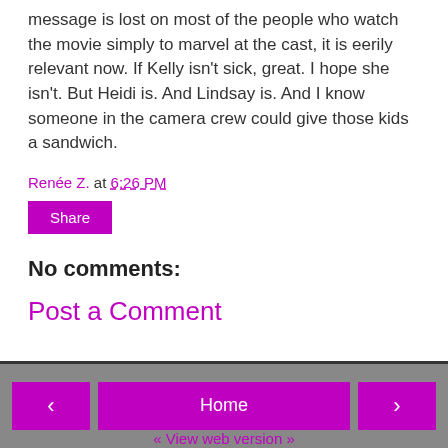message is lost on most of the people who watch the movie simply to marvel at the cast, it is eerily relevant now. If Kelly isn't sick, great. I hope she isn't. But Heidi is. And Lindsay is. And I know someone in the camera crew could give those kids a sandwich.
Renée Z. at 6:26 PM
Share
No comments:
Post a Comment
< Home > View web version Powered by Blogger.